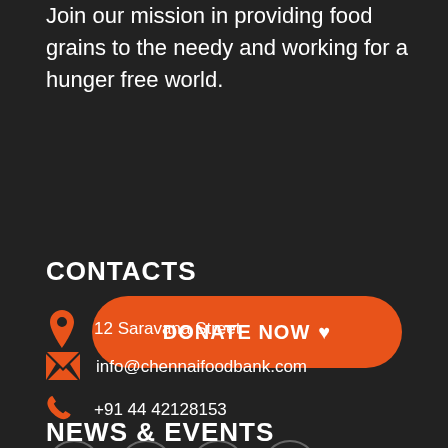Join our mission in providing food grains to the needy and working for a hunger free world.
[Figure (other): Orange donate now button with heart icon]
CONTACTS
12 Saravana Street
info@chennaifoodbank.com
+91 44 42128153
[Figure (other): Social media icons: Twitter, Facebook, YouTube, Instagram in circle outlines]
NEWS & EVENTS